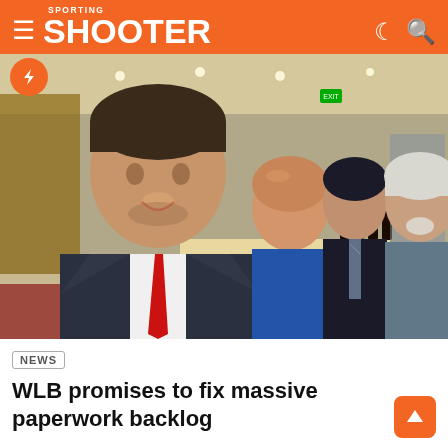SPORTING SHOOTER
[Figure (photo): Four men posing for a selfie in what appears to be a modern lobby or function room. The man in front wears a dark suit with a red tie. Behind him are three other men, one in a blue shirt, one in a dark suit with tie, and one older man with white hair in a grey jacket.]
NEWS
WLB promises to fix massive paperwork backlog